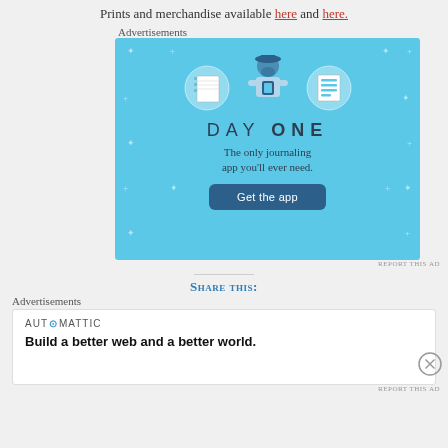Prints and merchandise available here and here.
Advertisements
[Figure (screenshot): Day One journaling app advertisement. Blue background with illustrated character wearing a cap, flanked by a notebook icon and a list icon. Text reads 'DAY ONE – The only journaling app you'll ever need.' with a 'Get the app' button.]
REPORT THIS AD
Share this:
Advertisements
[Figure (screenshot): Automattic advertisement. White box with Automattic logo and text: 'Build a better web and a better world.']
REPORT THIS AD